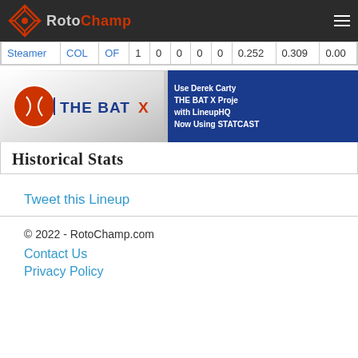RotoChamp
| Steamer | COL | OF | 1 | 0 | 0 | 0 | 0 | 0.252 | 0.309 | 0.00 |
[Figure (advertisement): THE BAT X advertisement with LineupHQ and STATCAST branding]
Historical Stats
Tweet this Lineup
© 2022 - RotoChamp.com
Contact Us
Privacy Policy